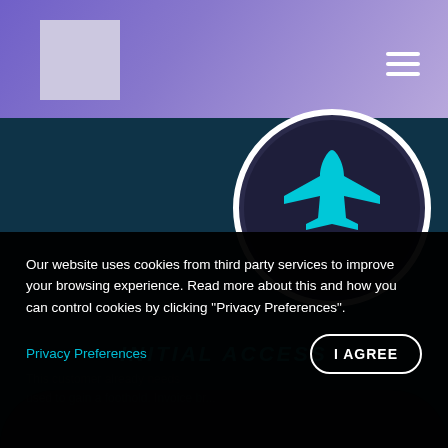[Figure (logo): Light gray square logo placeholder in top left of purple gradient header bar]
[Figure (illustration): Airplane icon in cyan/teal color inside a circular dark frame with white border ring, centered in dark teal background area]
INITIAL ACCESS
Our website uses cookies from third party services to improve your browsing experience. Read more about this and how you can control cookies by clicking "Privacy Preferences".
Privacy Preferences
I AGREE